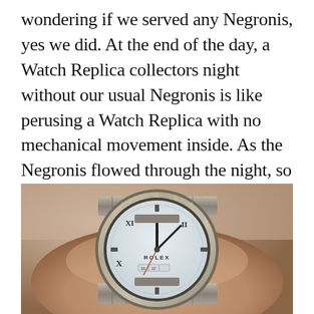wondering if we served any Negronis, yes we did. At the end of the day, a Watch Replica collectors night without our usual Negronis is like perusing a Watch Replica with no mechanical movement inside. As the Negronis flowed through the night, so did the champagne flutes, the signature cocktails, the decadent hors d'oeuvres and some tasty macarons almost as good as those from Ladurée.
[Figure (photo): Close-up photograph of a Rolex watch (Sky-Dweller) being worn on a wrist, showing the white/silver dial with Roman numerals, fluted bezel, and oyster bracelet.]